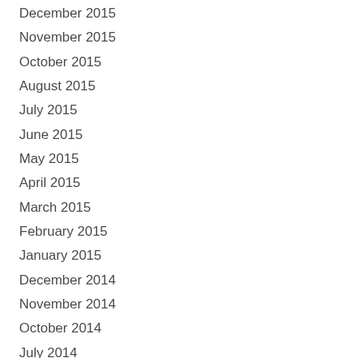December 2015
November 2015
October 2015
August 2015
July 2015
June 2015
May 2015
April 2015
March 2015
February 2015
January 2015
December 2014
November 2014
October 2014
July 2014